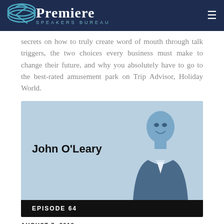Premiere Speakers Bureau
secrets on how to truly create word of mouth through talk triggers, the two choices every business must make to change their future, and why you absolutely have to go to the best-rated amusement park on Trip Advisor, Holiday World.
[Figure (photo): Card featuring John O'Leary with his photo and episode label. Light blue background with man in suit on the right side.]
EPISODE 64
AUGUST 7, 2018
John O'Leary shares his story of survival